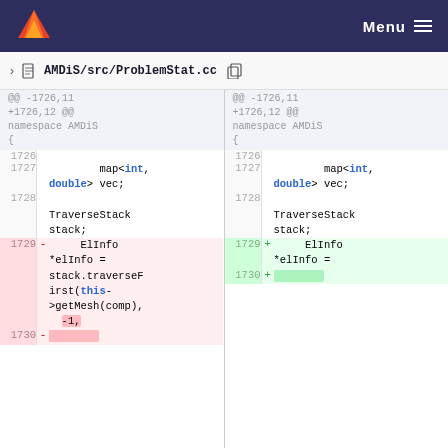Menu
AMDiS/src/ProblemStat.cc
[Figure (screenshot): Git diff view of AMDiS/src/ProblemStat.cc showing lines 1726-1730. Left panel (old): line 1727 has map<int, double> vec;, line 1728 has TraverseStack stack;, line 1729 (deleted, red) has ElInfo *elInfo = stack.traverseFirst(this->getMesh(comp), -1,. Right panel (new): same lines but line 1729 (added, green) has ElInfo *elInfo =. Line 1730 shown truncated on both sides.]